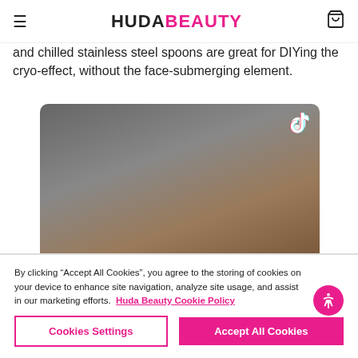HUDA BEAUTY
and chilled stainless steel spoons are great for DIYing the cryo-effect, without the face-submerging element.
[Figure (photo): A person lying down with a satin bonnet/hair cap, eyes closed, viewed from above. A TikTok logo watermark is visible in the top right corner of the video.]
By clicking “Accept All Cookies”, you agree to the storing of cookies on your device to enhance site navigation, analyze site usage, and assist in our marketing efforts. Huda Beauty Cookie Policy
Cookies Settings
Accept All Cookies